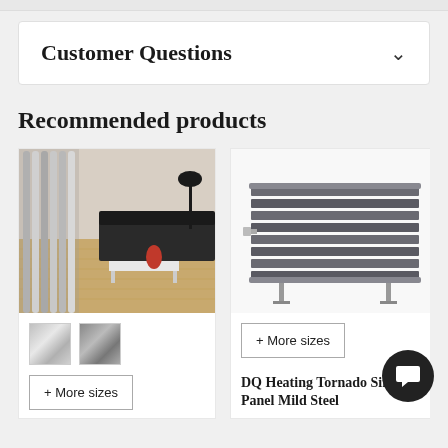Customer Questions
Recommended products
[Figure (photo): Vertical chrome radiator in a modern living room with wooden floor, dark sofa, and lamp]
[Figure (photo): Dark grey horizontal single panel mild steel radiator on white background with floor stands]
[Figure (photo): Partial view of a dark vertical radiator]
+ More sizes
+ More sizes
+ Mo
DQ Heating Tornado Single Panel Mild Steel
Verti